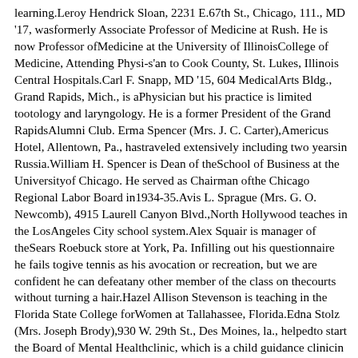learning.Leroy Hendrick Sloan, 2231 E.67th St., Chicago, 111., MD '17, wasformerly Associate Professor of Medicine at Rush. He is now Professor ofMedicine at the University of IllinoisCollege of Medicine, Attending Physi-s'an to Cook County, St. Lukes, Illinois Central Hospitals.Carl F. Snapp, MD '15, 604 MedicalArts Bldg., Grand Rapids, Mich., is aPhysician but his practice is limited tootology and laryngology. He is a former President of the Grand RapidsAlumni Club. Erma Spencer (Mrs. J. C. Carter),Americus Hotel, Allentown, Pa., hastraveled extensively including two yearsin Russia.William H. Spencer is Dean of theSchool of Business at the Universityof Chicago. He served as Chairman ofthe Chicago Regional Labor Board in1934-35.Avis L. Sprague (Mrs. G. O. Newcomb), 4915 Laurell Canyon Blvd.,North Hollywood teaches in the LosAngeles City school system.Alex Squair is manager of theSears Roebuck store at York, Pa. Infilling out his questionnaire he fails togive tennis as his avocation or recreation, but we are confident he can defeatany other member of the class on thecourts without turning a hair.Hazel Allison Stevenson is teaching in the Florida State College forWomen at Tallahassee, Florida.Edna Stolz (Mrs. Joseph Brody),930 W. 29th St., Des Moines, la., helpedto start the Board of Mental Healthclinic, which is a child guidance clinicin Des Moines. She is now chairmanof the Board. Her daughter, Ruth, isa student at the University and a newlyappointed Aide.One of the editorial writers on theChicago Tribune is Leon Stolz. Andhis history reads like a persistent